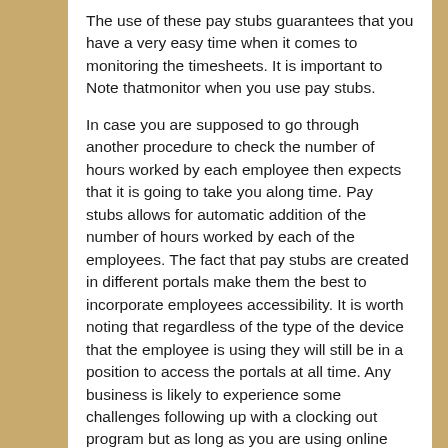The use of these pay stubs guarantees that you have a very easy time when it comes to monitoring the timesheets. It is important to Note thatmonitor when you use pay stubs.
In case you are supposed to go through another procedure to check the number of hours worked by each employee then expects that it is going to take you along time. Pay stubs allows for automatic addition of the number of hours worked by each of the employees. The fact that pay stubs are created in different portals make them the best to incorporate employees accessibility. It is worth noting that regardless of the type of the device that the employee is using they will still be in a position to access the portals at all time. Any business is likely to experience some challenges following up with a clocking out program but as long as you are using online pay stubs this becomes a thing of the past. You can expect that for any of your employees to get access to financial assistance from any money lender then they need to have their payroll information. For that reason you give your employees an easy time especially when they are going through loan applications. Click here if as an employer you do not want to be worried about in the process of filing in returns then you can successfully benefit from this by using